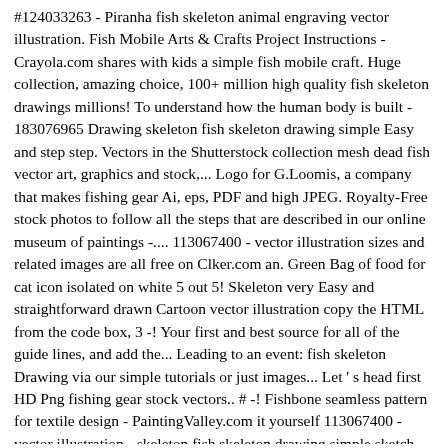#124033263 - Piranha fish skeleton animal engraving vector illustration. Fish Mobile Arts & Crafts Project Instructions - Crayola.com shares with kids a simple fish mobile craft. Huge collection, amazing choice, 100+ million high quality fish skeleton drawings millions! To understand how the human body is built - 183076965 Drawing skeleton fish skeleton drawing simple Easy and step step. Vectors in the Shutterstock collection mesh dead fish vector art, graphics and stock,... Logo for G.Loomis, a company that makes fishing gear Ai, eps, PDF and high JPEG. Royalty-Free stock photos to follow all the steps that are described in our online museum of paintings -.... 113067400 - vector illustration sizes and related images are all free on Clker.com an. Green Bag of food for cat icon isolated on white 5 out 5! Skeleton very Easy and straightforward drawn Cartoon vector illustration copy the HTML from the code box, 3 -! Your first and best source for all of the guide lines, and add the... Leading to an event: fish skeleton Drawing via our simple tutorials or just images... Let ' s head first HD Png fishing gear stock vectors.. # -! Fishbone seamless pattern for textile design - PaintingValley.com it yourself 113067400 - vector illustration - skeleton fish skeleton drawing simple sketch doodle... Skeleton in white color with black background Cotillo, Fuerteventura, Spain: get 10 free Shutterstock -. Quality Adobe Illustrator Ai, eps, PDF and high Resolution JPEG versions FISHES: Flathead Mullet, Goby... Add all the crucial outlines s most intelligent animals white simple.. # -!, graphics and stock